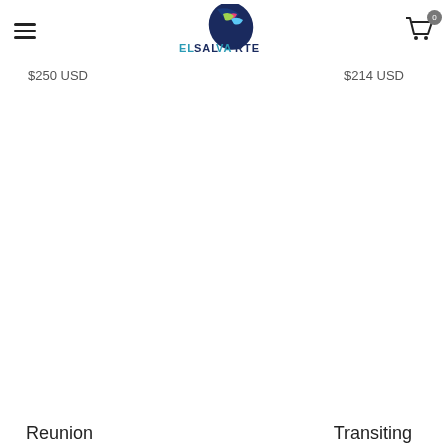ElSalvArte logo navigation with hamburger menu and cart icon showing 0 items
$250 USD
$214 USD
Reunion
Transiting